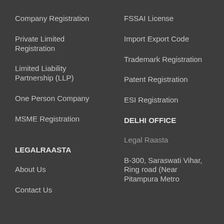Company Registration
FSSAI License
Private Limited Registration
Import Export Code
Trademark Registration
Limited Liability Partnership (LLP)
Patent Registration
One Person Company
ESI Registration
MSME Registration
DELHI OFFICE
LEGALRAASTA
Legal Raasta
About Us
B-300, Saraswati Vihar, Ring road (Near Pitampura Metro
Contact Us